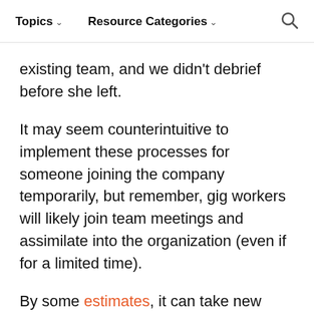Topics ∨   Resource Categories ∨   🔍
existing team, and we didn't debrief before she left.
It may seem counterintuitive to implement these processes for someone joining the company temporarily, but remember, gig workers will likely join team meetings and assimilate into the organization (even if for a limited time).
By some estimates, it can take new employees eight months to a year to be